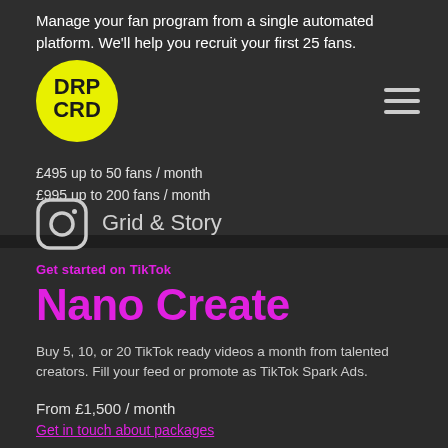Manage your fan program from a single automated platform. We'll help you recruit your first 25 fans.
[Figure (logo): DRP CRD logo — yellow circle with black bold text DRP CRD]
[Figure (illustration): Hamburger menu icon (three horizontal lines)]
£495 up to 50 fans / month
£995 up to 200 fans / month
[Figure (illustration): Instagram camera icon]
Grid & Story
Get started on TikTok
Nano Create
Buy 5, 10, or 20 TikTok ready videos a month from talented creators. Fill your feed or promote as TikTok Spark Ads.
From £1,500 / month
Get in touch about packages